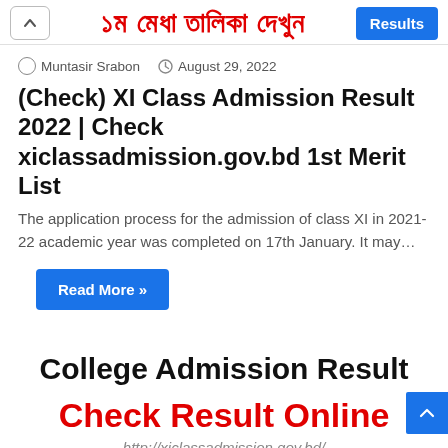১ম মেধা তালিকা দেখুন
Muntasir Srabon  August 29, 2022
(Check) XI Class Admission Result 2022 | Check xiclassadmission.gov.bd 1st Merit List
The application process for the admission of class XI in 2021-22 academic year was completed on 17th January. It may…
Read More »
College Admission Result
Check Result Online
http://xiclassadmission.gov.bd/